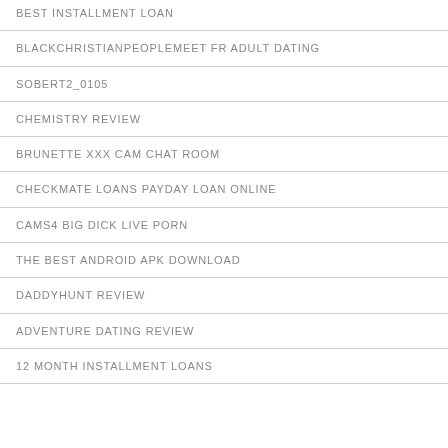BEST INSTALLMENT LOAN
BLACKCHRISTIANPEOPLEMEET FR ADULT DATING
SOBERT2_0105
CHEMISTRY REVIEW
BRUNETTE XXX CAM CHAT ROOM
CHECKMATE LOANS PAYDAY LOAN ONLINE
CAMS4 BIG DICK LIVE PORN
THE BEST ANDROID APK DOWNLOAD
DADDYHUNT REVIEW
ADVENTURE DATING REVIEW
12 MONTH INSTALLMENT LOANS